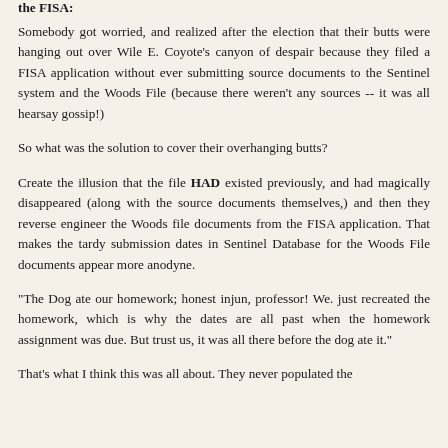the FISA:
Somebody got worried, and realized after the election that their butts were hanging out over Wile E. Coyote's canyon of despair because they filed a FISA application without ever submitting source documents to the Sentinel system and the Woods File (because there weren't any sources -- it was all hearsay gossip!)
So what was the solution to cover their overhanging butts?
Create the illusion that the file HAD existed previously, and had magically disappeared (along with the source documents themselves,) and then they reverse engineer the Woods file documents from the FISA application. That makes the tardy submission dates in Sentinel Database for the Woods File documents appear more anodyne.
"The Dog ate our homework; honest injun, professor! We. just recreated the homework, which is why the dates are all past when the homework assignment was due. But trust us, it was all there before the dog ate it."
That's what I think this was all about. They never populated the